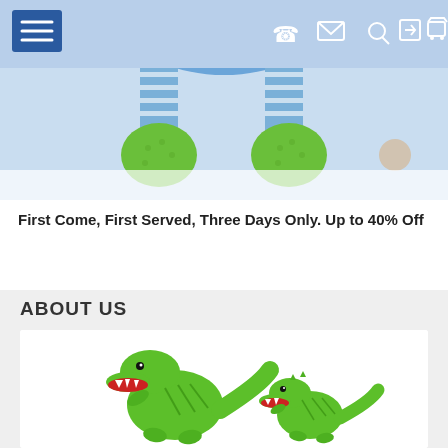[Figure (screenshot): Website header navigation bar with blue background, hamburger menu button on left, and icons (phone, email, search, login, cart) on right. Below, a hero image showing a crocheted doll sitting with green crocheted shoes/feet visible.]
First Come, First Served, Three Days Only. Up to 40% Off
ABOUT US
[Figure (photo): Two green knitted/crocheted T-Rex dinosaur toys on a white background — a larger one on the left and a smaller one on the right, both with open mouths showing red tongues and white teeth.]